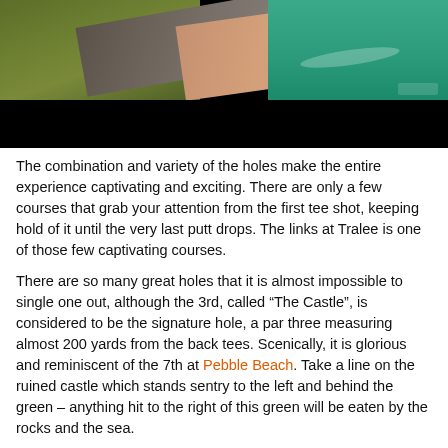[Figure (photo): Aerial view of a coastline with green cliffs, a rocky/pebble beach, sandy shore, and turquoise sea. Lower half of image is black (obscured/redacted).]
The combination and variety of the holes make the entire experience captivating and exciting. There are only a few courses that grab your attention from the first tee shot, keeping hold of it until the very last putt drops. The links at Tralee is one of those few captivating courses.
There are so many great holes that it is almost impossible to single one out, although the 3rd, called “The Castle”, is considered to be the signature hole, a par three measuring almost 200 yards from the back tees. Scenically, it is glorious and reminiscent of the 7th at Pebble Beach. Take a line on the ruined castle which stands sentry to the left and behind the green – anything hit to the right of this green will be eaten by the rocks and the sea.
The 17th is called “Ryan’s Daughter” because the landscape was dramatically filmed in the award-winning movie and the hole will stick in the memory for a very long time; an elevated tee shot on this 355